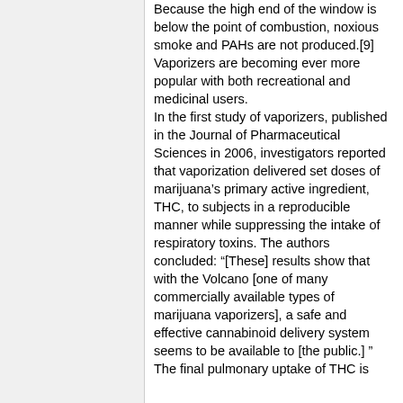Because the high end of the window is below the point of combustion, noxious smoke and PAHs are not produced.[9] Vaporizers are becoming ever more popular with both recreational and medicinal users. In the first study of vaporizers, published in the Journal of Pharmaceutical Sciences in 2006, investigators reported that vaporization delivered set doses of marijuana’s primary active ingredient, THC, to subjects in a reproducible manner while suppressing the intake of respiratory toxins. The authors concluded: “[These] results show that with the Volcano [one of many commercially available types of marijuana vaporizers], a safe and effective cannabinoid delivery system seems to be available to [the public.] ” The final pulmonary uptake of THC is